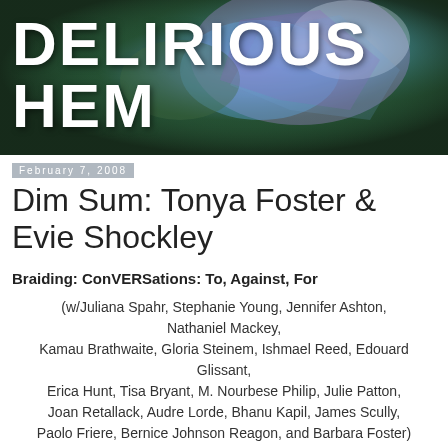[Figure (photo): Dark banner image with colorful crystalline/prismatic light reflections, featuring the bold white text 'DELIRIOUS HEM' overlaid on the image]
February 7, 2008
Dim Sum: Tonya Foster & Evie Shockley
Braiding: ConVERSations: To, Against, For
(w/Juliana Spahr, Stephanie Young, Jennifer Ashton, Nathaniel Mackey, Kamau Brathwaite, Gloria Steinem, Ishmael Reed, Edouard Glissant, Erica Hunt, Tisa Bryant, M. Nourbese Philip, Julie Patton, Joan Retallack, Audre Lorde, Bhanu Kapil, James Scully, Paolo Friere, Bernice Johnson Reagon, and Barbara Foster)